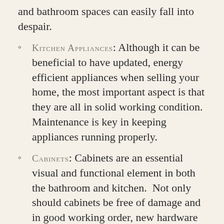and bathroom spaces can easily fall into despair.
KITCHEN APPLIANCES: Although it can be beneficial to have updated, energy efficient appliances when selling your home, the most important aspect is that they are all in solid working condition.  Maintenance is key in keeping appliances running properly.
CABINETS: Cabinets are an essential visual and functional element in both the bathroom and kitchen.  Not only should cabinets be free of damage and in good working order, new hardware never hurts to modernize a slightly older space.
FAUCETS, SINKS, SHOWERS & TUBS: Not only are aesthetics important so is the functionality of drains and faucets. The drains within sinks, showers, and tubs should all drain properly, fre...